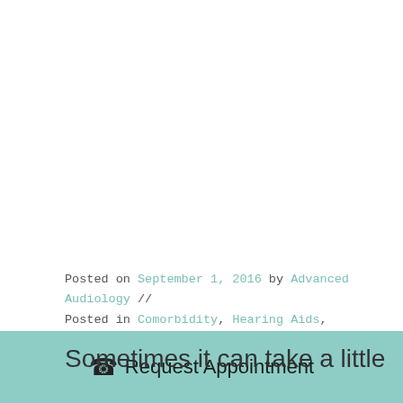Posted on September 1, 2016 by Advanced Audiology // Posted in Comorbidity, Hearing Aids, Hearing Loss
Sometimes it can take a little
Request Appointment